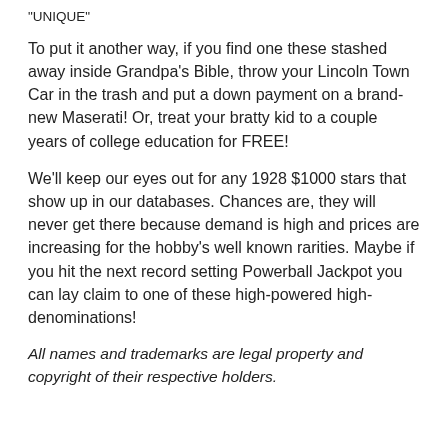"UNIQUE"
To put it another way, if you find one these stashed away inside Grandpa’s Bible, throw your Lincoln Town Car in the trash and put a down payment on a brand-new Maserati! Or, treat your bratty kid to a couple years of college education for FREE!
We’ll keep our eyes out for any 1928 $1000 stars that show up in our databases. Chances are, they will never get there because demand is high and prices are increasing for the hobby’s well known rarities. Maybe if you hit the next record setting Powerball Jackpot you can lay claim to one of these high-powered high-denominations!
All names and trademarks are legal property and copyright of their respective holders.